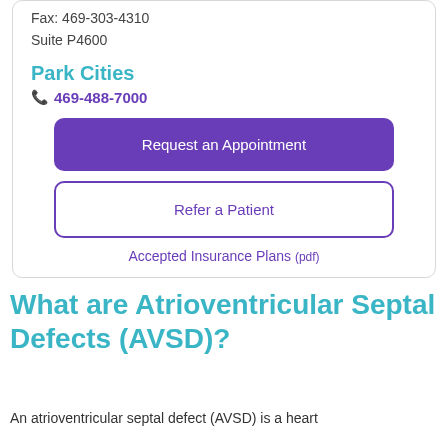Fax: 469-303-4310
Suite P4600
Park Cities
📞 469-488-7000
Request an Appointment
Refer a Patient
Accepted Insurance Plans (pdf)
What are Atrioventricular Septal Defects (AVSD)?
An atrioventricular septal defect (AVSD) is a heart